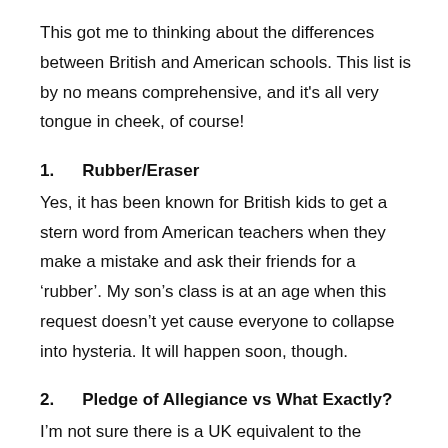This got me to thinking about the differences between British and American schools. This list is by no means comprehensive, and it's all very tongue in cheek, of course!
1.   Rubber/Eraser
Yes, it has been known for British kids to get a stern word from American teachers when they make a mistake and ask their friends for a 'rubber'. My son's class is at an age when this request doesn't yet cause everyone to collapse into hysteria. It will happen soon, though.
2.   Pledge of Allegiance vs What Exactly?
I'm not sure there is a UK equivalent to the American Pledge of Allegiance that the USA school kids get to say every week. At one UK school I attended, we said (read as 'mumbled through') the Lord's Prayer; at another we spoke a verse of Latin; and at another we did bugger all. I rather like the